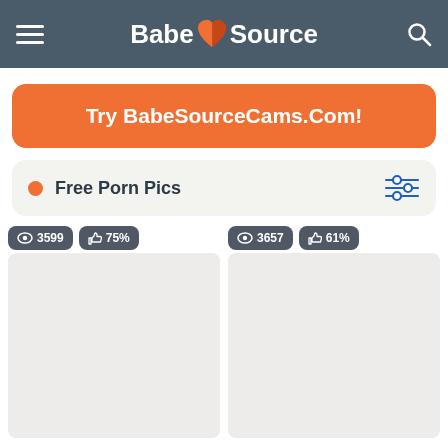BabeSource
Try BabeSourceCams.Com!
Free Porn Pics
[Figure (screenshot): Two image thumbnails with view count and like percentage badges. Left: 3599 views, 75% likes. Right: 3657 views, 61% likes.]